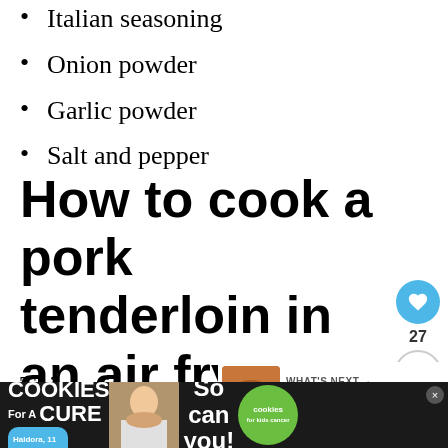Italian seasoning
Onion powder
Garlic powder
Salt and pepper
How to cook a pork tenderloin in an air fryer
This recipe is so easy! First we star preheating the air fryer to a very hot 400
[Figure (other): WHAT'S NEXT callout box with food thumbnail image and text 'Air Fryer Baby Potatoes']
[Figure (other): Advertisement banner: I Bake COOKIES For A CURE, Haidora 11 Cancer Survivor, So can you!, cookies for kids cancer logo]